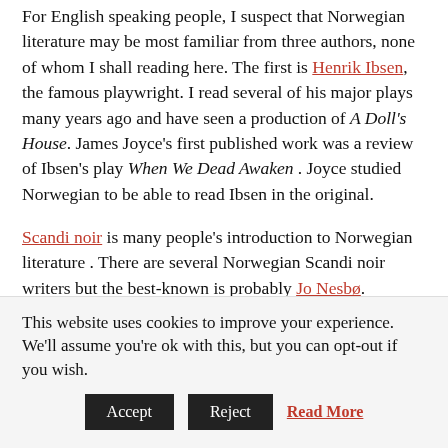For English speaking people, I suspect that Norwegian literature may be most familiar from three authors, none of whom I shall reading here. The first is Henrik Ibsen, the famous playwright. I read several of his major plays many years ago and have seen a production of A Doll's House. James Joyce's first published work was a review of Ibsen's play When We Dead Awaken . Joyce studied Norwegian to be able to read Ibsen in the original.
Scandi noir is many people's introduction to Norwegian literature . There are several Norwegian Scandi noir writers but the best-known is probably Jo Nesbø.
This website uses cookies to improve your experience. We'll assume you're ok with this, but you can opt-out if you wish.